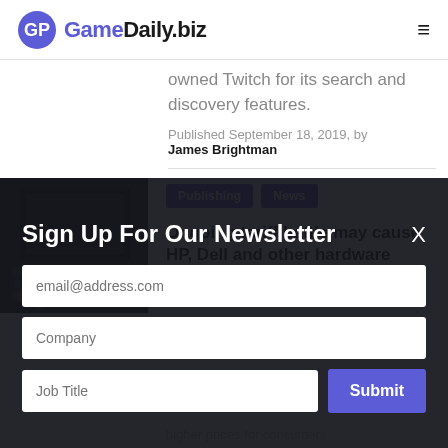GameDaily.biz
owned Twitch for its search and discovery features.
Published September 18, 2019, by James Brightman
[Figure (photo): Person typing on a laptop keyboard, dark background]
Publishing  News
Ongoing tariff battle may cause HP, Dell and other hardware makers to leave China
Sign Up For Our Newsletter
email@address.com
Company
Job Title
Submit
higher prices for consumers